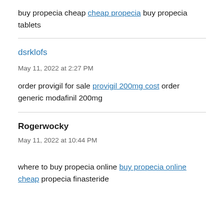buy propecia cheap cheap propecia buy propecia tablets
dsrklofs
May 11, 2022 at 2:27 PM
order provigil for sale provigil 200mg cost order generic modafinil 200mg
Rogerwocky
May 11, 2022 at 10:44 PM
where to buy propecia online buy propecia online cheap propecia finasteride